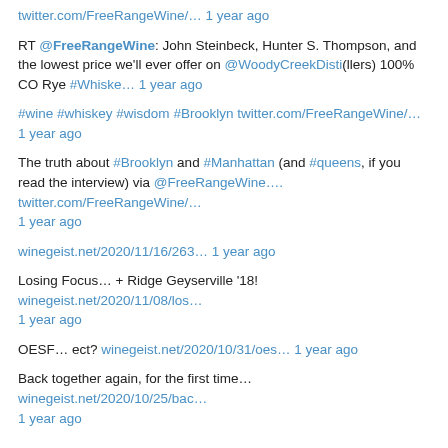twitter.com/FreeRangeWine/… 1 year ago
RT @FreeRangeWine: John Steinbeck, Hunter S. Thompson, and the lowest price we'll ever offer on @WoodyCreekDisti(llers) 100% CO Rye #Whiske… 1 year ago
#wine #whiskey #wisdom #Brooklyn twitter.com/FreeRangeWine/… 1 year ago
The truth about #Brooklyn and #Manhattan (and #queens, if you read the interview) via @FreeRangeWine.... twitter.com/FreeRangeWine/… 1 year ago
winegeist.net/2020/11/16/263… 1 year ago
Losing Focus… + Ridge Geyserville '18! winegeist.net/2020/11/08/los… 1 year ago
OESF… ect? winegeist.net/2020/10/31/oes… 1 year ago
Back together again, for the first time… winegeist.net/2020/10/25/bac… 1 year ago